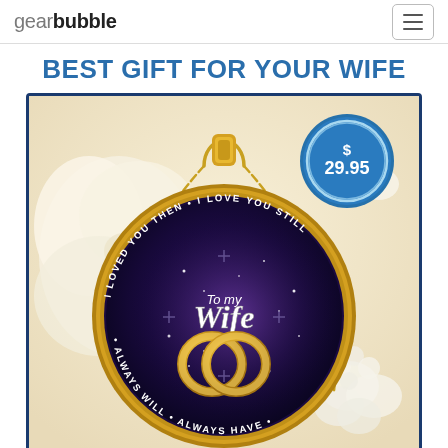gearbubble
BEST GIFT FOR YOUR WIFE
[Figure (photo): Product photo of a gold-tone pendant necklace with glass dome showing text 'To my Wife - I loved you then, I love you still, Always have, Always will' surrounding two interlocked wedding rings against a purple galaxy background. White roses and flowers in the background. A blue circular price badge overlay shows '$ 29.95'.]